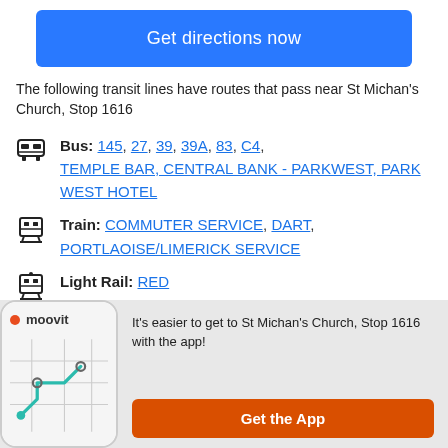Get directions now
The following transit lines have routes that pass near St Michan's Church, Stop 1616
Bus: 145, 27, 39, 39A, 83, C4, TEMPLE BAR, CENTRAL BANK - PARKWEST, PARK WEST HOTEL
Train: COMMUTER SERVICE, DART, PORTLAOISE/LIMERICK SERVICE
Light Rail: RED
[Figure (screenshot): Moovit app screenshot showing map with route lines]
It's easier to get to St Michan's Church, Stop 1616 with the app!
Get the App